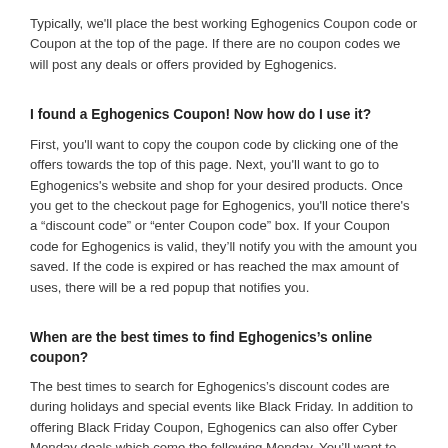Typically, we'll place the best working Eghogenics Coupon code or Coupon at the top of the page. If there are no coupon codes we will post any deals or offers provided by Eghogenics.
I found a Eghogenics Coupon! Now how do I use it?
First, you'll want to copy the coupon code by clicking one of the offers towards the top of this page. Next, you'll want to go to Eghogenics's website and shop for your desired products. Once you get to the checkout page for Eghogenics, you'll notice there's a “discount code” or “enter Coupon code” box. If your Coupon code for Eghogenics is valid, they'll notify you with the amount you saved. If the code is expired or has reached the max amount of uses, there will be a red popup that notifies you.
When are the best times to find Eghogenics’s online coupon?
The best times to search for Eghogenics’s discount codes are during holidays and special events like Black Friday. In addition to offering Black Friday Coupon, Eghogenics can also offer Cyber Monday deals which come the following Monday. You’ll want to bookmark this page and keep checking for the latest Eghogenics coupon codes. Sometimes you’ll be